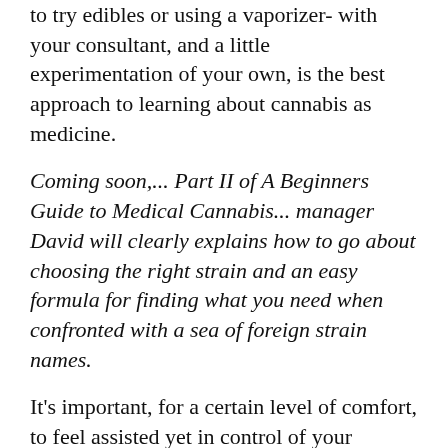to try edibles or using a vaporizer- with your consultant, and a little experimentation of your own, is the best approach to learning about cannabis as medicine.
Coming soon,... Part II of A Beginners Guide to Medical Cannabis... manager David will clearly explains how to go about choosing the right strain and an easy formula for finding what you need when confronted with a sea of foreign strain names.
It's important, for a certain level of comfort, to feel assisted yet in control of your dispensary experience. Do your own research to find the best dispensaries or doctors in your area. User-based resources like Yelp and Weedmaps can help you find the very best products and service just by reading other patient reviews. Dispensaries should be happy to talk to potential